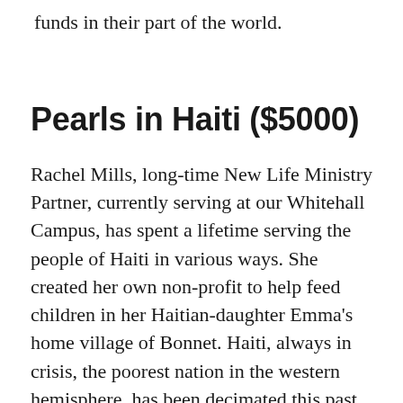funds in their part of the world.
Pearls in Haiti ($5000)
Rachel Mills, long-time New Life Ministry Partner, currently serving at our Whitehall Campus, has spent a lifetime serving the people of Haiti in various ways. She created her own non-profit to help feed children in her Haitian-daughter Emma's home village of Bonnet. Haiti, always in crisis, the poorest nation in the western hemisphere, has been decimated this past year with violent protests closing schools and businesses, creating food and clean water shortages, danger and